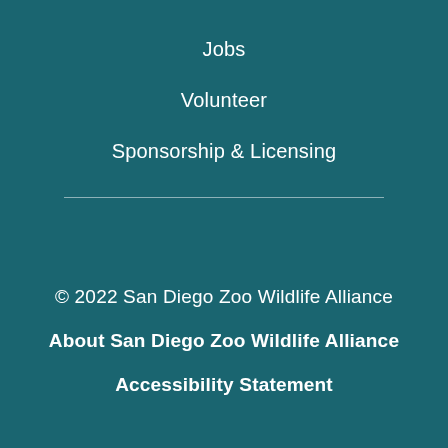Jobs
Volunteer
Sponsorship & Licensing
© 2022 San Diego Zoo Wildlife Alliance
About San Diego Zoo Wildlife Alliance
Accessibility Statement